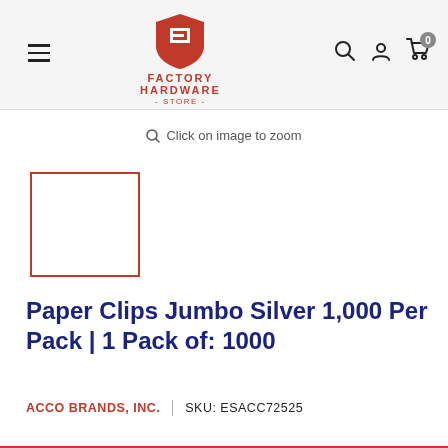Factory Hardware Store — navigation header with logo, hamburger menu, search, account, and cart icons
Click on image to zoom
[Figure (other): Product thumbnail placeholder — empty white box with red border]
Paper Clips Jumbo Silver 1,000 Per Pack | 1 Pack of: 1000
ACCO BRANDS, INC.   |   SKU: ESACC72525